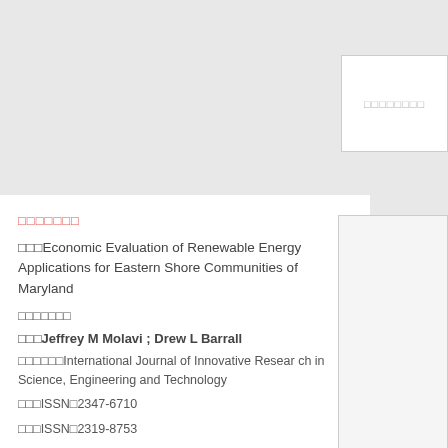[Figure (other): Top right box with placeholder text (redacted characters)]
□□□□□□□ (label in Chinese/Japanese characters, redacted)
□□□Economic Evaluation of Renewable Energy Applications for Eastern Shore Communities of Maryland
□□□□□□□
□□□Jeffrey M Molavi ; Drew L Barrall
□□□□□□International Journal of Innovative Research in Science, Engineering and Technology
□□□ISSN□2347-6710
□□□ISSN□2319-8753
□□□□□2014